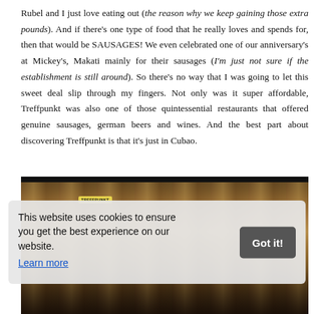Rubel and I just love eating out (the reason why we keep gaining those extra pounds). And if there's one type of food that he really loves and spends for, then that would be SAUSAGES! We even celebrated one of our anniversary's at Mickey's, Makati mainly for their sausages (I'm just not sure if the establishment is still around). So there's no way that I was going to let this sweet deal slip through my fingers. Not only was it super affordable, Treffpunkt was also one of those quintessential restaurants that offered genuine sausages, german beers and wines. And the best part about discovering Treffpunkt is that it's just in Cubao.
[Figure (photo): A refrigerated display case with packaged sausages. A yellow TREFFPUNKT branded label is visible on the packages.]
This website uses cookies to ensure you get the best experience on our website. Learn more